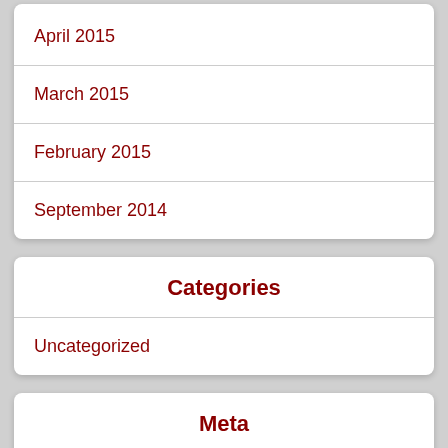April 2015
March 2015
February 2015
September 2014
Categories
Uncategorized
Meta
Log in